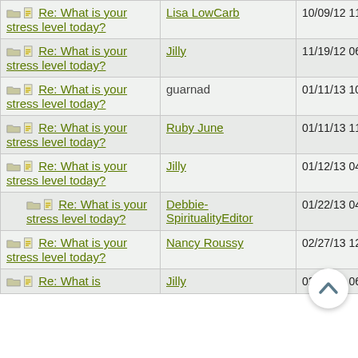| Topic | Author | Date |
| --- | --- | --- |
| Re: What is your stress level today? | Lisa LowCarb | 10/09/12 11:29 PM |
| Re: What is your stress level today? | Jilly | 11/19/12 06:27 AM |
| Re: What is your stress level today? | guarnad | 01/11/13 10:38 AM |
| Re: What is your stress level today? | Ruby June | 01/11/13 11:08 AM |
| Re: What is your stress level today? | Jilly | 01/12/13 04:06 AM |
| Re: What is your stress level today? | Debbie-SpiritualityEditor | 01/22/13 04:48 PM |
| Re: What is your stress level today? | Nancy Roussy | 02/27/13 12:55 AM |
| Re: What is your stress level today? | Jilly | 02/28/13 06:24 PM |